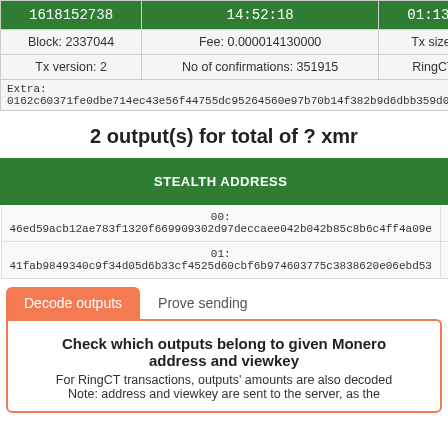| 1618152738 | 14:52:18 | 01:138:19:4... |
| --- | --- | --- |
| Block: 2337044 | Fee: 0.000014130000 | Tx size: 1.9287 |
| Tx version: 2 | No of confirmations: 351915 | RingCT/type: y |
| Extra: 0162c60371fe0dbe714ec43e56f44755dc95264560e97b70b14f382b9d6dbb359d020901ec7c49... |  |  |
2 output(s) for total of ? xmr
| STEALTH ADDRESS | AMOUNT |
| --- | --- |
| 00: 46ed59acb12ae783f1320f669909302d97deccaee042b042b85c8b6c4ff4a09e | ? |
| 01: 41fab9849340c9f34d05d6b33cf4525d60cbf6b974603775c3838620e06ebd53 | ? |
Decode outputs
Prove sending
Check which outputs belong to given Monero address and viewkey
For RingCT transactions, outputs' amounts are also decoded
Note: address and viewkey are sent to the server, as the